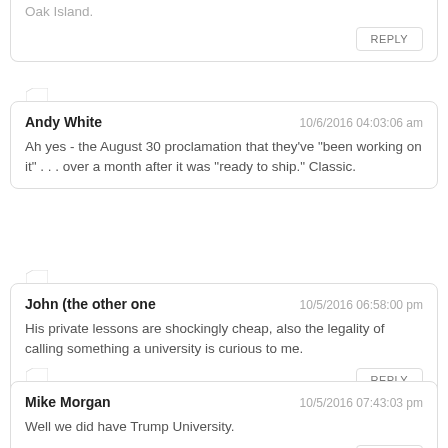Oak Island.
REPLY
Andy White   10/6/2016 04:03:06 am
Ah yes - the August 30 proclamation that they've "been working on it" . . . over a month after it was "ready to ship." Classic.
John (the other one   10/5/2016 06:58:00 pm
His private lessons are shockingly cheap, also the legality of calling something a university is curious to me.
REPLY
Mike Morgan   10/5/2016 07:43:03 pm
Well we did have Trump University.
REPLY